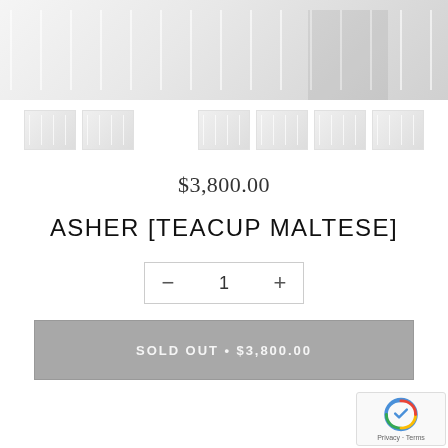[Figure (photo): Hero product photo showing a white bedroom scene with white bedding and furniture]
[Figure (photo): Row of thumbnail product images showing bedroom scenes from different angles]
$3,800.00
ASHER [TEACUP MALTESE]
− 1 +
SOLD OUT • $3,800.00